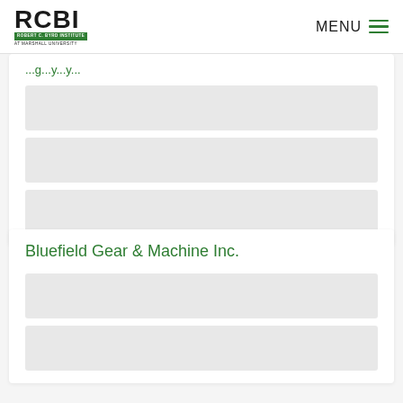RCBI - Robert C. Byrd Institute at Marshall University | MENU
[Figure (screenshot): Partial card with green link text and gray placeholder content bars]
Bluefield Gear & Machine Inc.
[Figure (screenshot): Card with gray placeholder content bars below title]